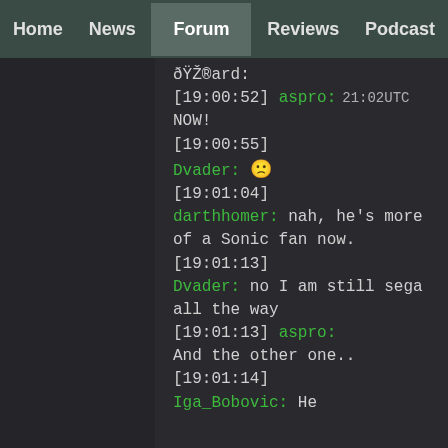Home | News | Forum | Reviews | Podcast
[19:00:52] aspro: NOW! 21:02UTC
[19:00:55] Dvader: :(
[19:01:04] darthhomer: nah, he's more of a Sonic fan now.
[19:01:13] Dvader: no I am still sega all the way
[19:01:13] aspro: And the other one..
[19:01:14] Iga_Bobovic: He